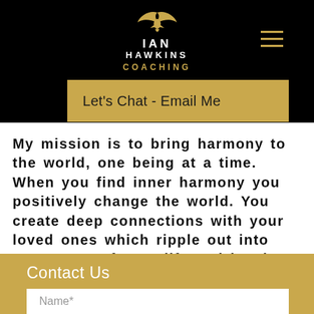[Figure (logo): Ian Hawkins Coaching logo with golden bird/wing mark above text IAN HAWKINS COACHING in white and gold on black background]
[Figure (other): Hamburger menu icon — three horizontal gold lines]
e a
ing a
r the
r.
Let's Chat - Email Me
My mission is to bring harmony to the world, one being at a time. When you find inner harmony you positively change the world. You create deep connections with your loved ones which ripple out into every area of your life and inspires your family, friends, workplace, community, and the entire world for generations to come.
Contact Us
Name*